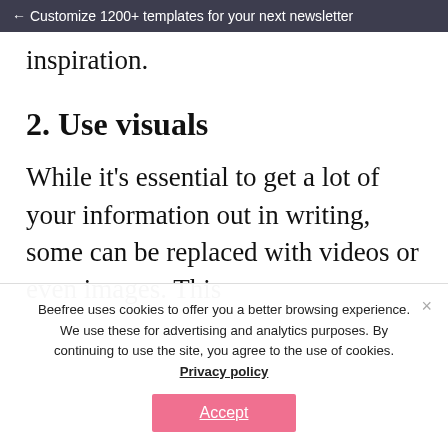← Customize 1200+ templates for your next newsletter
inspiration.
2. Use visuals
While it's essential to get a lot of your information out in writing, some can be replaced with videos or even images. This
Beefree uses cookies to offer you a better browsing experience. We use these for advertising and analytics purposes. By continuing to use the site, you agree to the use of cookies. Privacy policy
Accept